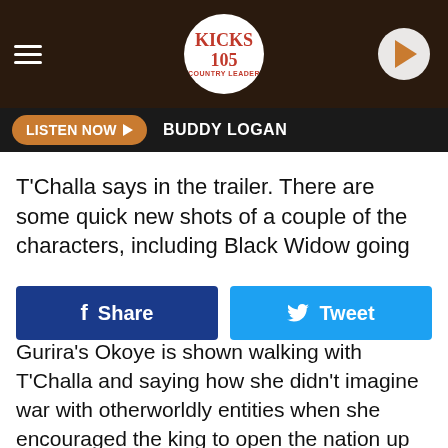KICKS 105 | LISTEN NOW | BUDDY LOGAN
T'Challa says in the trailer. There are some quick new shots of a couple of the characters, including Black Widow going
[Figure (screenshot): Share and Tweet buttons row]
Gurira's Okoye is shown walking with T'Challa and saying how she didn't imagine war with otherworldly entities when she encouraged the king to open the nation up to the rest of the world. "What did you imagine?" he asks. "The Olympics?" she replies. "A Starbucks?"
Here’s the Infinity War synopsis:
Iron Man, Thor, the Hulk and the rest of the Avengers